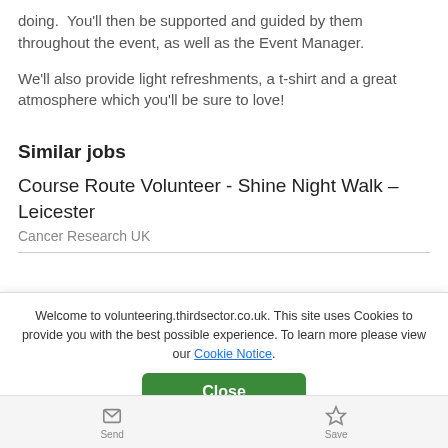doing.  You'll then be supported and guided by them throughout the event, as well as the Event Manager.
We'll also provide light refreshments, a t-shirt and a great atmosphere which you'll be sure to love!
Similar jobs
Course Route Volunteer - Shine Night Walk – Leicester
Cancer Research UK
Welcome to volunteering.thirdsector.co.uk. This site uses Cookies to provide you with the best possible experience. To learn more please view our Cookie Notice.